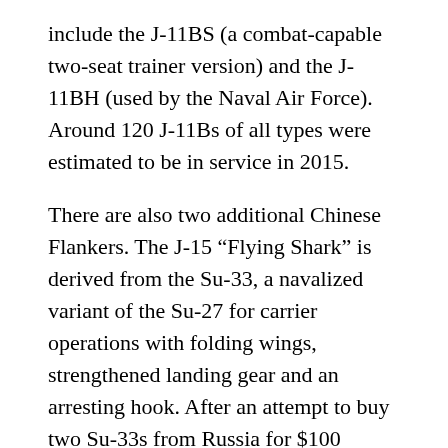include the J-11BS (a combat-capable two-seat trainer version) and the J-11BH (used by the Naval Air Force). Around 120 J-11Bs of all types were estimated to be in service in 2015.
There are also two additional Chinese Flankers. The J-15 “Flying Shark” is derived from the Su-33, a navalized variant of the Su-27 for carrier operations with folding wings, strengthened landing gear and an arresting hook. After an attempt to buy two Su-33s from Russia for $100 million was refused in 2006, China instead relied on a prototype purchased from Ukraine in 2001. By 2009, the first J-15 had been produced, and in 2012 two J-15s performed their first landing on